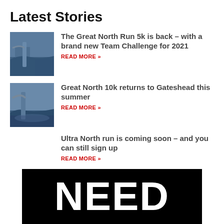Latest Stories
The Great North Run 5k is back – with a brand new Team Challenge for 2021
READ MORE »
Great North 10k returns to Gateshead this summer
READ MORE »
Ultra North run is coming soon – and you can still sign up
READ MORE »
[Figure (photo): Black banner with large white text reading NEED]